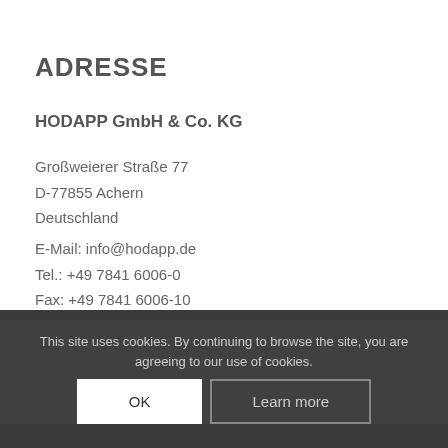ADRESSE
HODAPP GmbH & Co. KG
Großweierer Straße 77
D-77855 Achern
Deutschland
E-Mail: info@hodapp.de
Tel.: +49 7841 6006-0
Fax: +49 7841 6006-10
ADDRESS
HODAPP GmbH & Co. KG
Grossweierer St...
This site uses cookies. By continuing to browse the site, you are agreeing to our use of cookies.
OK
Learn more